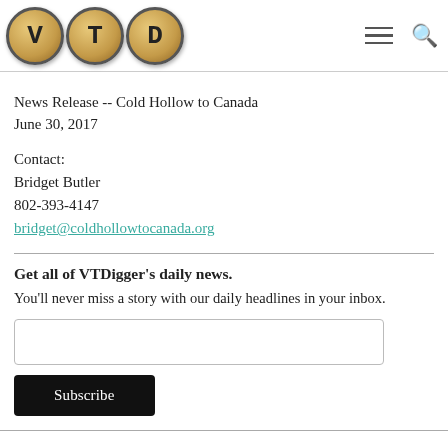[Figure (logo): VTDigger logo with three typewriter keys showing letters V, T, D]
News Release -- Cold Hollow to Canada
June 30, 2017
Contact:
Bridget Butler
802-393-4147
bridget@coldhollowtocanada.org
Get all of VTDigger's daily news.
You'll never miss a story with our daily headlines in your inbox.